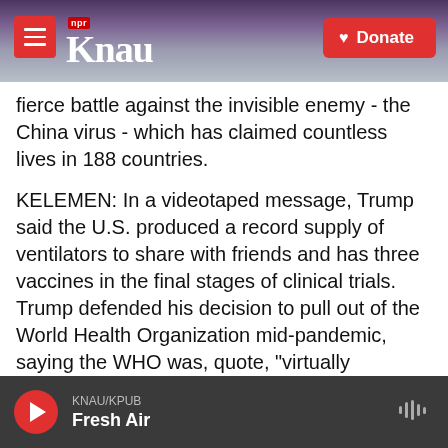[Figure (screenshot): KNAU NPR radio website header with logo on left, hamburger menu button, and red Donate button on right, set against mountain landscape background]
fierce battle against the invisible enemy - the China virus - which has claimed countless lives in 188 countries.
KELEMEN: In a videotaped message, Trump said the U.S. produced a record supply of ventilators to share with friends and has three vaccines in the final stages of clinical trials. Trump defended his decision to pull out of the World Health Organization mid-pandemic, saying the WHO was, quote, "virtually controlled by China."
(SOUNDBITE OF ARCHIVED RECORDING)
KNAU/KPUB Fresh Air